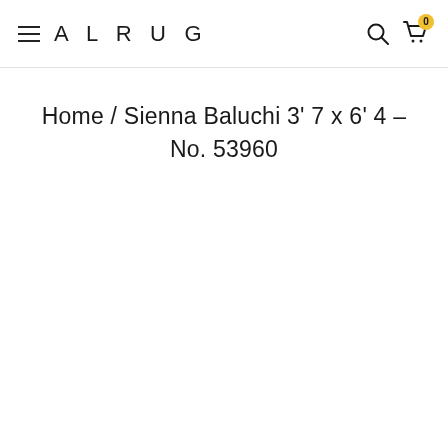ALRUG
Home / Sienna Baluchi 3' 7 x 6' 4 – No. 53960